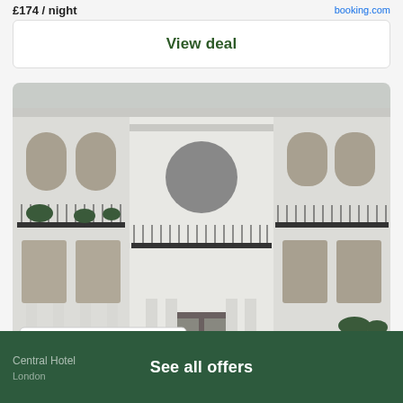£174 / night
View deal
[Figure (photo): Exterior facade of a white Georgian/Victorian hotel building with ornate ironwork balconies, arched windows, and columned entrance. A badge reads 'Save up to 93%'.]
3.9 (447 reviews)
Central Hotel
London
See all offers